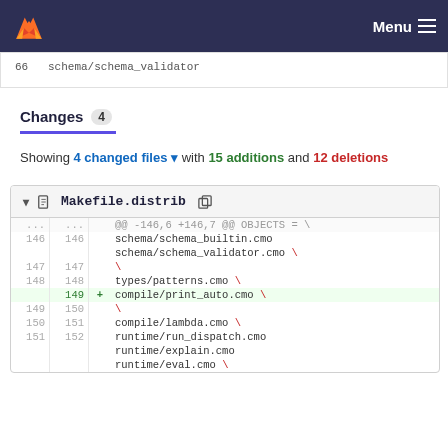Menu
66   schema/schema_validator
Changes 4
Showing 4 changed files with 15 additions and 12 deletions
| old | new | sign | code |
| --- | --- | --- | --- |
| ... | ... |  | @@ -146,6 +146,7 @@ OBJECTS = \ |
| 146 | 146 |  | schema/schema_builtin.cmo |
|  |  |  | schema/schema_validator.cmo \ |
| 147 | 147 |  | \ |
| 148 | 148 |  | types/patterns.cmo \ |
|  | 149 | + | compile/print_auto.cmo \ |
| 149 | 150 |  | \ |
| 150 | 151 |  | compile/lambda.cmo \ |
| 151 | 152 |  | runtime/run_dispatch.cmo |
|  |  |  | runtime/explain.cmo |
|  |  |  | runtime/eval.cmo \ |